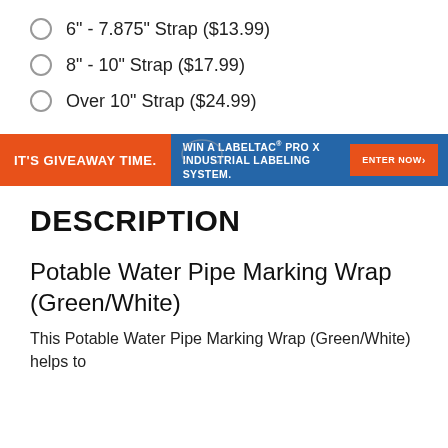6" - 7.875" Strap ($13.99)
8" - 10" Strap ($17.99)
Over 10" Strap ($24.99)
[Figure (infographic): Promotional banner: orange section 'IT'S GIVEAWAY TIME.' on blue background, white text 'WIN A LABELTAC® PRO X INDUSTRIAL LABELING SYSTEM.' and orange 'ENTER NOW ›' button]
DESCRIPTION
Potable Water Pipe Marking Wrap (Green/White)
This Potable Water Pipe Marking Wrap (Green/White) helps to